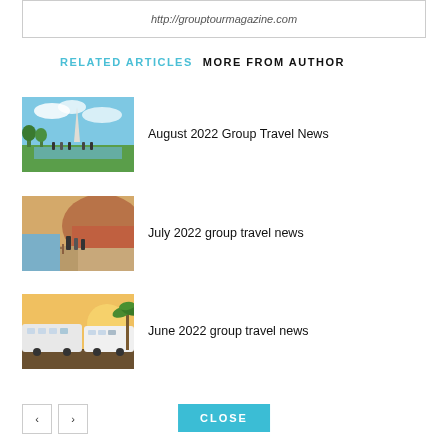http://grouptourmagazine.com
RELATED ARTICLES   MORE FROM AUTHOR
[Figure (photo): Group of tourists at Washington Monument with reflecting pool]
August 2022 Group Travel News
[Figure (photo): Two people walking along a sandy beach path with cliffs]
July 2022 group travel news
[Figure (photo): Tour buses parked near palm trees at sunset]
June 2022 group travel news